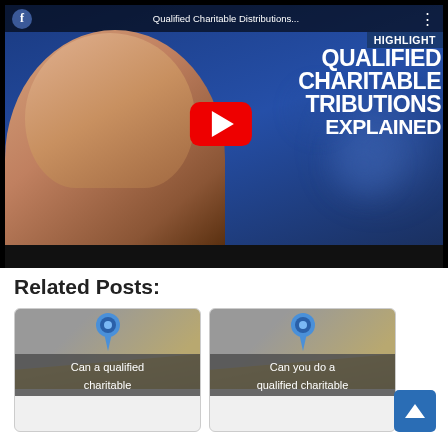[Figure (screenshot): YouTube video thumbnail showing a man in a pink polo shirt giving thumbs up, with text 'QUALIFIED CHARITABLE TRIBUTIONS EXPLAINED' overlaid on a blue background. A red YouTube play button is visible in the center. The video title bar reads 'Qualified Charitable Distributions...' with a HIGHLIGHT badge.]
Related Posts:
[Figure (screenshot): Related post card with a thumbtack pin icon and yellow diagonal strip, text reads 'Can a qualified charitable']
[Figure (screenshot): Related post card with a thumbtack pin icon and yellow diagonal strip, text reads 'Can you do a qualified charitable']